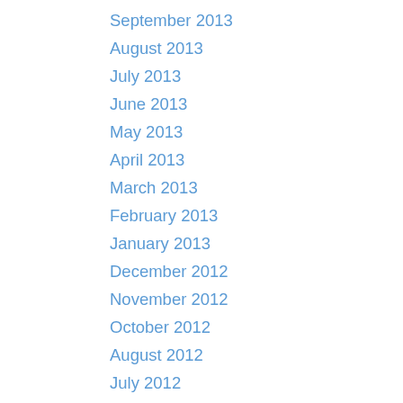September 2013
August 2013
July 2013
June 2013
May 2013
April 2013
March 2013
February 2013
January 2013
December 2012
November 2012
October 2012
August 2012
July 2012
June 2012
May 2012
April 2012
March 2012